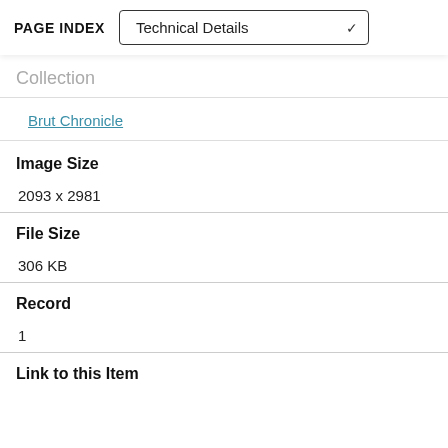PAGE INDEX  Technical Details
Collection
Brut Chronicle
Image Size
2093 x 2981
File Size
306 KB
Record
1
Link to this Item